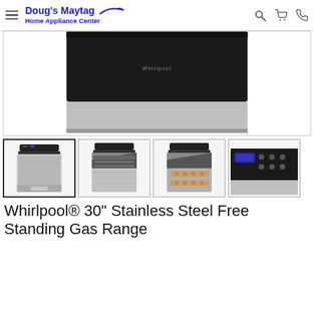Doug's Maytag Home Appliance Center
[Figure (photo): Close-up photo of a Whirlpool stainless steel gas range control panel and top portion, showing black and stainless steel finish with Whirlpool branding]
[Figure (photo): Thumbnail 1: Whirlpool 30 inch stainless steel free standing gas range, front view, oven closed]
[Figure (photo): Thumbnail 2: Whirlpool gas range with oven door open, showing interior racks]
[Figure (photo): Thumbnail 3: Whirlpool gas range with oven door open and food/cookies on racks]
[Figure (photo): Thumbnail 4: Close-up of the Whirlpool range control panel, partially cropped]
Whirlpool® 30" Stainless Steel Free Standing Gas Range